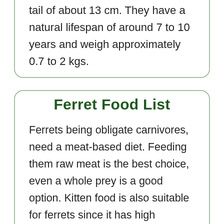tail of about 13 cm. They have a natural lifespan of around 7 to 10 years and weigh approximately 0.7 to 2 kgs.
Ferret Food List
Ferrets being obligate carnivores, need a meat-based diet. Feeding them raw meat is the best choice, even a whole prey is a good option. Kitten food is also suitable for ferrets since it has high contents of meat protein, although cat food is not a beneficial option. Eggs can be an occasional treat for your ferrets. Since